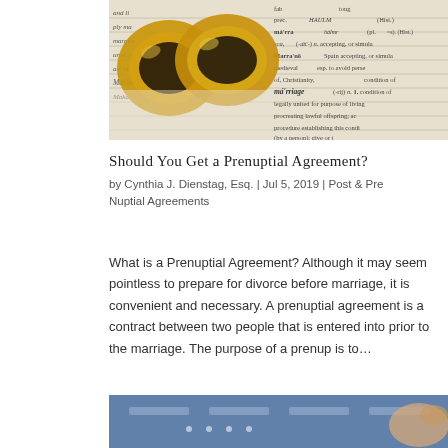[Figure (photo): Photo of two gold wedding rings resting on an open dictionary page showing the definition of 'marriage']
Should You Get a Prenuptial Agreement?
by Cynthia J. Dienstag, Esq. | Jul 5, 2019 | Post & Pre Nuptial Agreements
What is a Prenuptial Agreement? Although it may seem pointless to prepare for divorce before marriage, it is convenient and necessary. A prenuptial agreement is a contract between two people that is entered into prior to the marriage. The purpose of a prenup is to…
[Figure (photo): Partial photo of what appears to be a credit card or financial document with blue background]